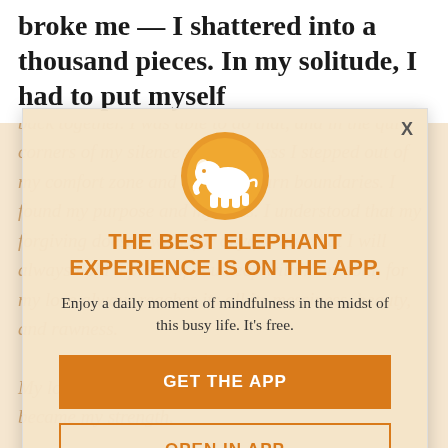broke me — I shattered into a thousand pieces. In my solitude, I had to put myself
back together. I was able to do that, and in the quiet corners of my silence and darkness I stepped out of my comfort zone and I grew. I learn boundaries. I found my purpose and my wins. I understood that my forgiving doesn't work for anyone and that I will always hold a piece of you deep within my soul, for my love always reaches its all its messiness, beauty, and rawness.
[Figure (logo): Elephant Journal app icon: orange circle with white elephant silhouette]
THE BEST ELEPHANT EXPERIENCE IS ON THE APP.
Enjoy a daily moment of mindfulness in the midst of this busy life. It's free.
GET THE APP
OPEN IN APP
My love, our love became my lesson, and ...